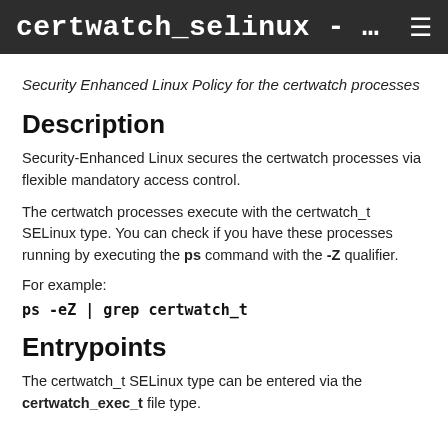certwatch_selinux - …
Security Enhanced Linux Policy for the certwatch processes
Description
Security-Enhanced Linux secures the certwatch processes via flexible mandatory access control.
The certwatch processes execute with the certwatch_t SELinux type. You can check if you have these processes running by executing the ps command with the -Z qualifier.
For example:
ps -eZ | grep certwatch_t
Entrypoints
The certwatch_t SELinux type can be entered via the certwatch_exec_t file type.